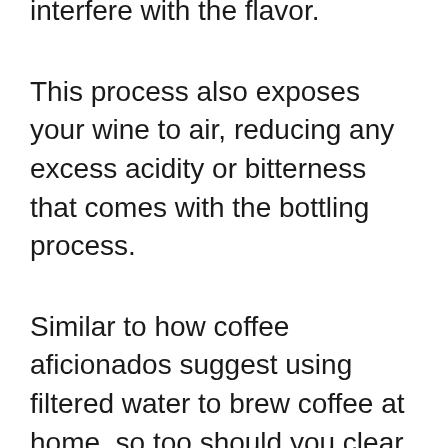interfere with the flavor.
This process also exposes your wine to air, reducing any excess acidity or bitterness that comes with the bottling process.
Similar to how coffee aficionados suggest using filtered water to brew coffee at home, so too should you clear out any excess residue with decanting. Decant your Malbec for around thirty to forty minutes before drinking.
Swirl and Sniff Before